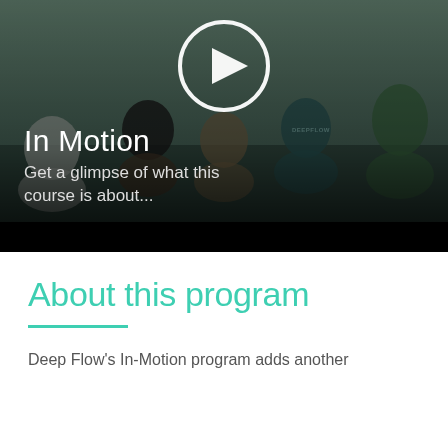[Figure (photo): Group of people sitting cross-legged in a yoga/meditation class outdoors, with a semi-transparent dark overlay and a white play button circle in the upper center. Text overlay reads 'In Motion' and 'Get a glimpse of what this course is about...']
In Motion
Get a glimpse of what this course is about...
About this program
Deep Flow's In-Motion program adds another